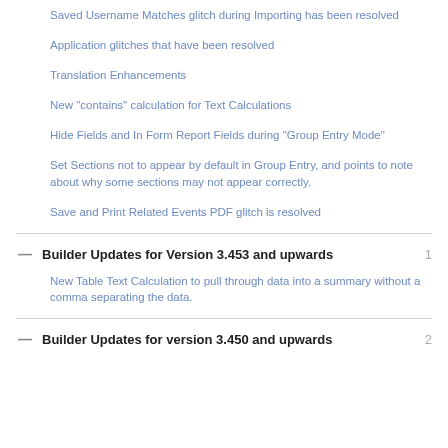Saved Username Matches glitch during Importing has been resolved
Application glitches that have been resolved
Translation Enhancements
New "contains" calculation for Text Calculations
Hide Fields and In Form Report Fields during "Group Entry Mode"
Set Sections not to appear by default in Group Entry, and points to note about why some sections may not appear correctly.
Save and Print Related Events PDF glitch is resolved
Builder Updates for Version 3.453 and upwards 1
New Table Text Calculation to pull through data into a summary without a comma separating the data.
Builder Updates for version 3.450 and upwards 2